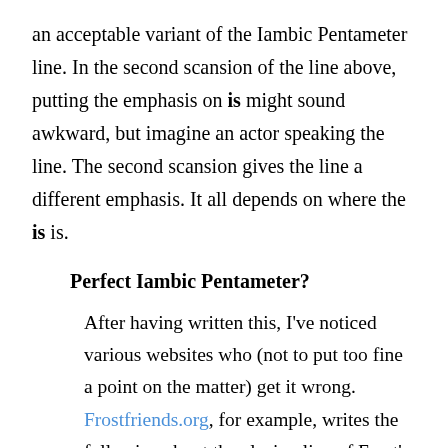an acceptable variant of the Iambic Pentameter line. In the second scansion of the line above, putting the emphasis on is might sound awkward, but imagine an actor speaking the line. The second scansion gives the line a different emphasis. It all depends on where the is is.
Perfect Iambic Pentameter?
After having written this, I've noticed various websites who (not to put too fine a point on the matter) get it wrong. Frostfriends.org, for example, writes the following about the closing line of Frost's poem Birches:
Birches: “It’s when I’m weary of considerations.” This line is perfect iambic pentameter, with an extra metrical